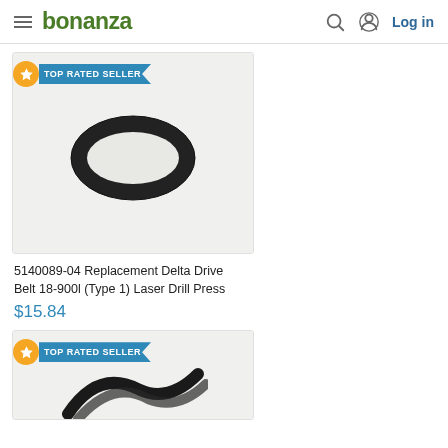bonanza  Log in
[Figure (photo): Product photo of a black rubber drive belt (oval ring shape) on a light background, with a TOP RATED SELLER badge overlay]
5140089-04 Replacement Delta Drive Belt 18-900l (Type 1) Laser Drill Press
$15.84
[Figure (photo): Partial product photo of a black coiled belt/hose on a light background, with a TOP RATED SELLER badge overlay (card cut off at bottom)]